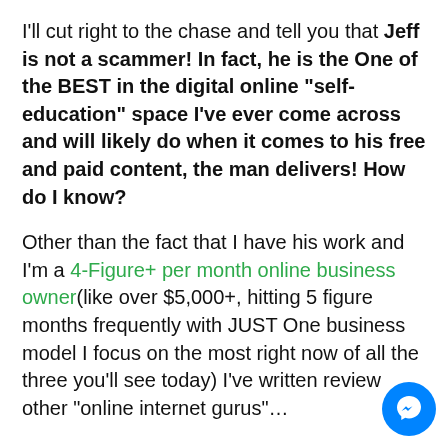I'll cut right to the chase and tell you that Jeff is not a scammer! In fact, he is the One of the BEST in the digital online "self-education" space I've ever come across and will likely do when it comes to his free and paid content, the man delivers! How do I know?
Other than the fact that I have his work and I'm a 4-Figure+ per month online business owner(like over $5,000+, hitting 5 figure months frequently with JUST One business model I focus on the most right now of all the three you'll see today) I've written reviews of other "online internet gurus"...